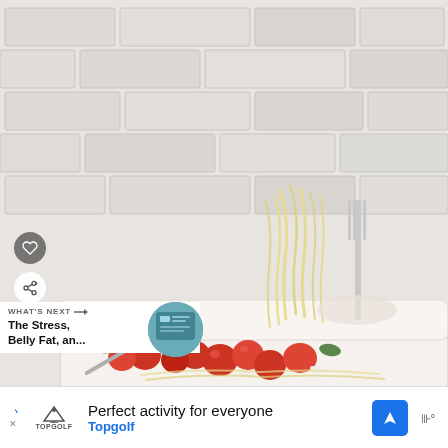[Figure (photo): Food photograph showing a baked pasta dish in a white ceramic baking dish. The dish contains spaghetti or angel hair pasta being lifted with a fork, cherry tomatoes (roasted, bursting), pieces of chicken or fish, fresh basil or parsley leaves, garlic, and what appears to be feta cheese. The background is a white painted brick wall. In the foreground are additional cherry tomatoes and herbs on a white surface.]
WHAT'S NEXT → The Stress, Belly Fat, an...
Perfect activity for everyone Topgolf